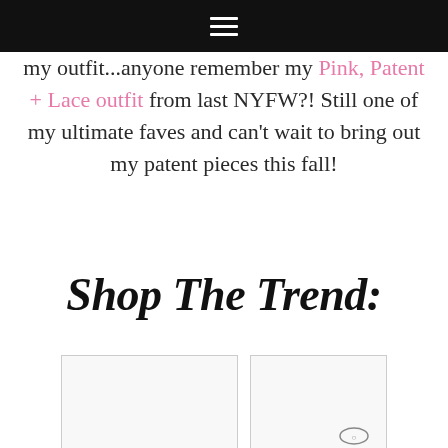≡
my outfit...anyone remember my Pink, Patent + Lace outfit from last NYFW?! Still one of my ultimate faves and can't wait to bring out my patent pieces this fall!
Shop The Trend:
[Figure (other): Two product image placeholder boxes side by side, partially visible at bottom of page. Right box has a circular logo/icon at bottom right.]